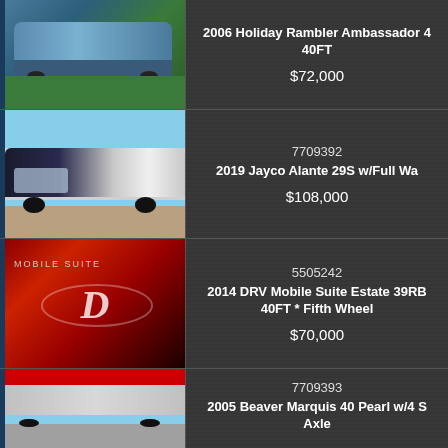[Figure (photo): Photo of a large gray and blue motorhome RV parked on grass]
2006 Holiday Rambler Ambassador 40FT
$72,000
[Figure (photo): Photo of a white and black Jayco Alante motorhome]
7709392
2019 Jayco Alante 29S w/Full Wa
$108,000
[Figure (photo): Photo of a red DRV Mobile Suite fifth wheel trailer with large D logo]
5505242
2014 DRV Mobile Suite Estate 39RB 40FT * Fifth Wheel
$70,000
[Figure (photo): Photo of a Beaver Marquis motorhome, partially visible]
7709393
2005 Beaver Marquis 40 Pearl w/4 S Axle